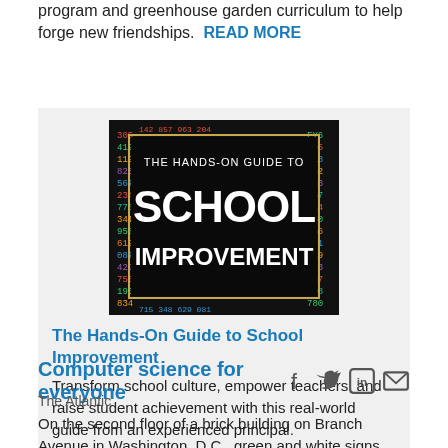program and greenhouse garden curriculum to help forge new friendships.  READ MORE
[Figure (illustration): Book cover for 'The Hands-On Guide to School Improvement' — dark background with colorful numbers border, white bold text.]
The Hands-On Guide to School Improvement
Transform school culture, empower teachers, and raise student achievement with this real-world guide from an experienced principal.
LEARN MORE
Computer science for everyone
The Atlantic
On the second floor of a brick building on Branch Avenue in Washington, D.C., green and white signs celebrating innovation and professionalism decorate the classrooms of Digital Pioneers Academy, the first computer-science–focused middle school in the nation's capital. One early afternoon, students at DPA worked on Scratch, an animation-based coding platform, to